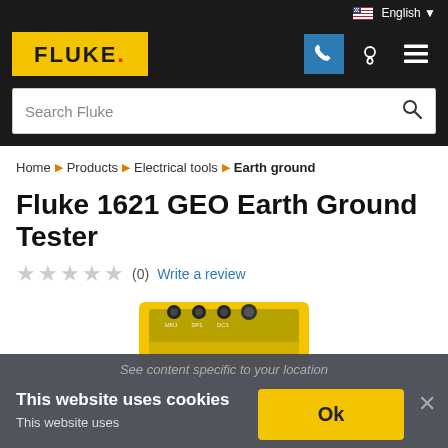English
[Figure (logo): Fluke logo in yellow rectangle with black text and red dot]
[Figure (screenshot): Navigation icons: phone (blue background), location pin, hamburger menu]
Search Fluke
Home ▶ Products ▶ Electrical tools ▶ Earth ground
Fluke 1621 GEO Earth Ground Tester
★★★★★ (0) Write a review
[Figure (photo): Fluke 1621 GEO Earth Ground Tester device — yellow box with multiple connector ports on top]
See content specific to your location
This website uses cookies
This website uses
Ok